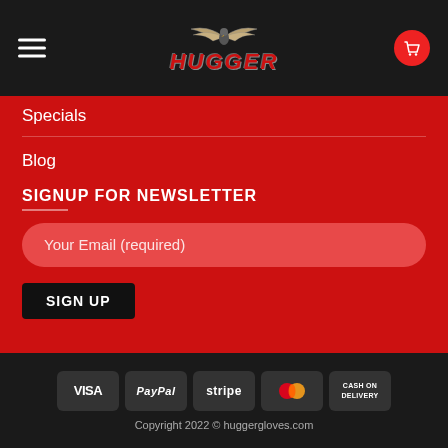[Figure (logo): Hugger Gloves logo with eagle wings and red stylized text on dark navigation bar]
Specials
Blog
SIGNUP FOR NEWSLETTER
Your Email (required)
SIGN UP
[Figure (other): Payment method badges: VISA, PayPal, stripe, MasterCard, CASH ON DELIVERY]
Copyright 2022 © huggergloves.com